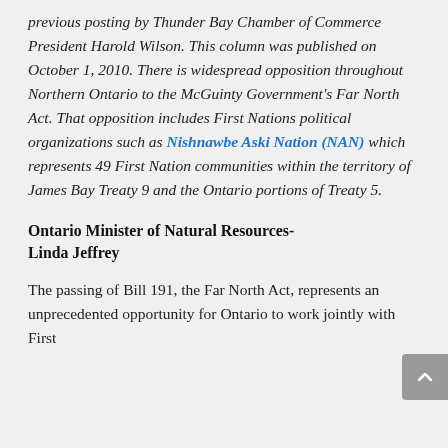previous posting by Thunder Bay Chamber of Commerce President Harold Wilson. This column was published on October 1, 2010. There is widespread opposition throughout Northern Ontario to the McGuinty Government's Far North Act. That opposition includes First Nations political organizations such as Nishnawbe Aski Nation (NAN) which represents 49 First Nation communities within the territory of James Bay Treaty 9 and the Ontario portions of Treaty 5.
Ontario Minister of Natural Resources- Linda Jeffrey
The passing of Bill 191, the Far North Act, represents an unprecedented opportunity for Ontario to work jointly with First